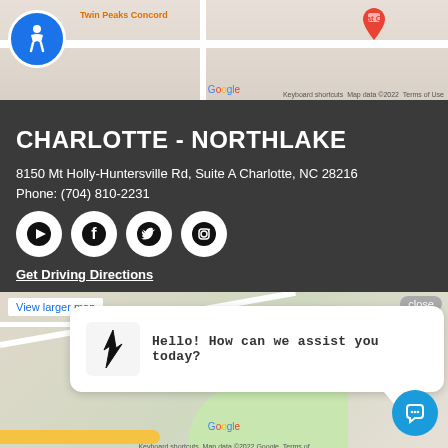[Figure (map): Google Maps screenshot showing Charlotte Northlake area with roads, accessibility icon overlay, keyboard shortcuts and map data 2022 attribution]
CHARLOTTE - NORTHLAKE
8150 Mt Holly-Huntersville Rd, Suite A Charlotte, NC 28216
Phone: (704) 810-2231
[Figure (infographic): Social media icons: YouTube, Facebook, Twitter, Instagram]
Get Driving Directions
[Figure (map): Second Google Maps screenshot of Charlotte Northlake area with a chat bubble overlay saying Hello! How can we assist you today? and a chat button]
CONCORD MILLS